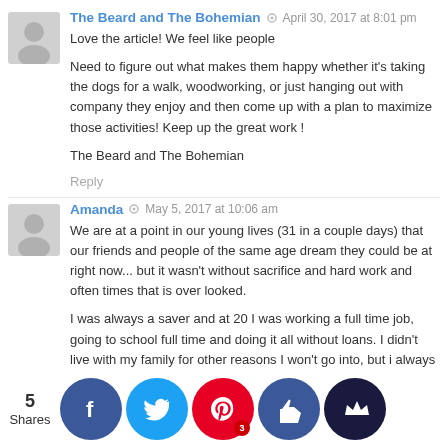The Beard and The Bohemian · April 30, 2017 at 8:01 pm
Love the article! We feel like people Need to figure out what makes them happy whether it's taking the dogs for a walk, woodworking, or just hanging out with company they enjoy and then come up with a plan to maximize those activities! Keep up the great work!

The Beard and The Bohemian
Reply
Amanda · May 5, 2017 at 10:06 am
We are at a point in our young lives (31 in a couple days) that our friends and people of the same age dream they could be at right now... but it wasn't without sacrifice and hard work and often times that is over looked.

I was always a saver and at 20 I was working a full time job, going to school full time and doing it all without loans. I didn't live with my family for other reasons I won't go into, but i always lived like a broke college student when I had full benefits a pension g I foun ney to oth ir a ted sa buy a c one o t
[Figure (infographic): Social share bar with 5 Shares count, Facebook, Twitter, Pinterest (3), Like, and Crown buttons]